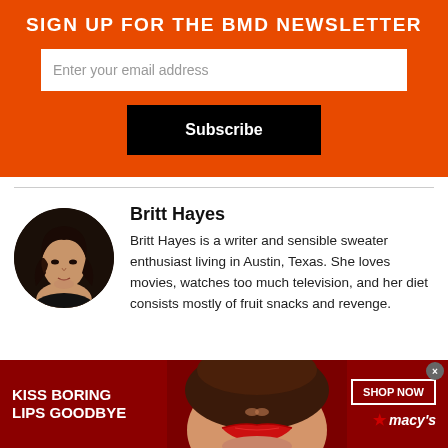SIGN UP FOR THE BMD NEWSLETTER
Enter your email address
Subscribe
Britt Hayes
Britt Hayes is a writer and sensible sweater enthusiast living in Austin, Texas. She loves movies, watches too much television, and her diet consists mostly of fruit snacks and revenge.
[Figure (illustration): Ad banner: dark red background with a woman's face (lips with red lipstick). Text: KISS BORING LIPS GOODBYE, SHOP NOW, Macy's star logo.]